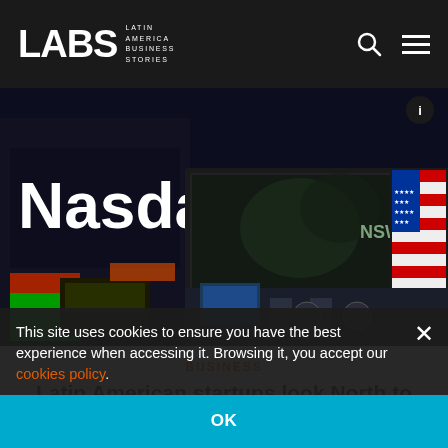LABS Latin America Business Stories
[Figure (photo): Nasdaq building in Times Square at night with large illuminated billboards and colorful screens including an American flag display]
BUSINESS
Latin American startups look North to IPO
This site uses cookies to ensure you have the best experience when accessing it. Browsing it, you accept our cookies policy.
OK